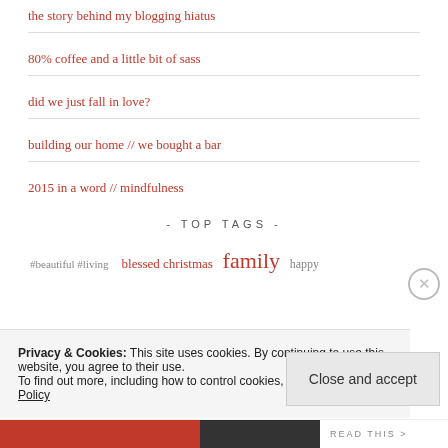the story behind my blogging hiatus
80% coffee and a little bit of sass
did we just fall in love?
building our home // we bought a bar
2015 in a word // mindfulness
- TOP TAGS -
blessed christmas family happy
Privacy & Cookies: This site uses cookies. By continuing to use this website, you agree to their use. To find out more, including how to control cookies, see here: Cookie Policy
Close and accept